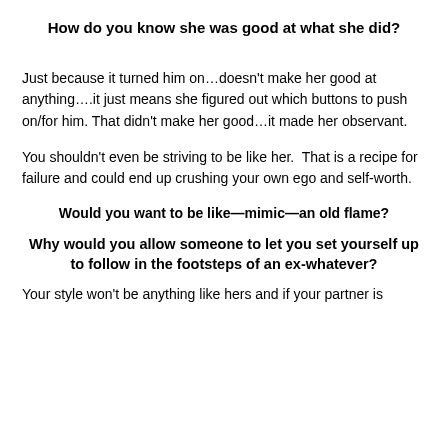How do you know she was good at what she did?
Just because it turned him on…doesn't make her good at anything….it just means she figured out which buttons to push on/for him. That didn't make her good…it made her observant.
You shouldn't even be striving to be like her.  That is a recipe for failure and could end up crushing your own ego and self-worth.
Would you want to be like—mimic—an old flame?
Why would you allow someone to let you set yourself up to follow in the footsteps of an ex-whatever?
Your style won't be anything like hers and if your partner is